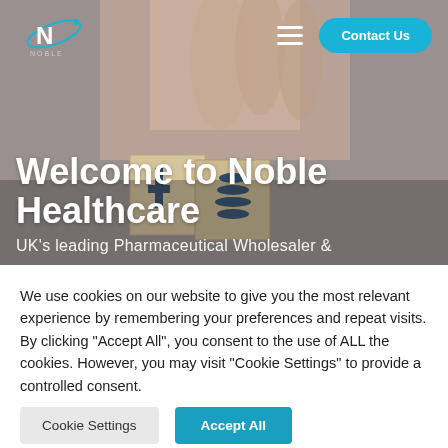[Figure (screenshot): Noble Healthcare website hero section with hand picking up wooden block with logo icons, navigation bar with logo, hamburger menu, and Contact Us button]
Welcome to Noble Healthcare
UK's leading Pharmaceutical Wholesaler &
We use cookies on our website to give you the most relevant experience by remembering your preferences and repeat visits. By clicking "Accept All", you consent to the use of ALL the cookies. However, you may visit "Cookie Settings" to provide a controlled consent.